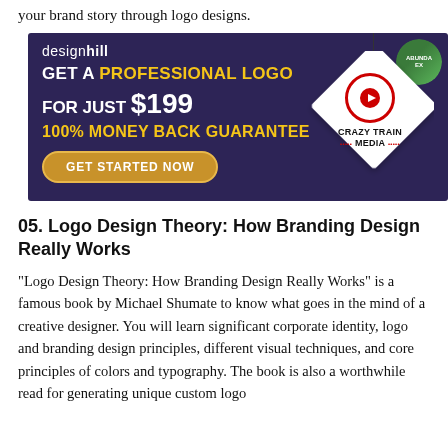your brand story through logo designs.
[Figure (advertisement): Designhill advertisement banner with dark purple background. Text: 'designhill', 'GET A PROFESSIONAL LOGO FOR JUST $199', '100% MONEY BACK GUARANTEE', 'GET STARTED NOW' button. Right side shows a hanging diamond shape with Crazy Train Media logo.]
05. Logo Design Theory: How Branding Design Really Works
“Logo Design Theory: How Branding Design Really Works” is a famous book by Michael Shumate to know what goes in the mind of a creative designer. You will learn significant corporate identity, logo and branding design principles, different visual techniques, and core principles of colors and typography. The book is also a worthwhile read for generating unique custom logo